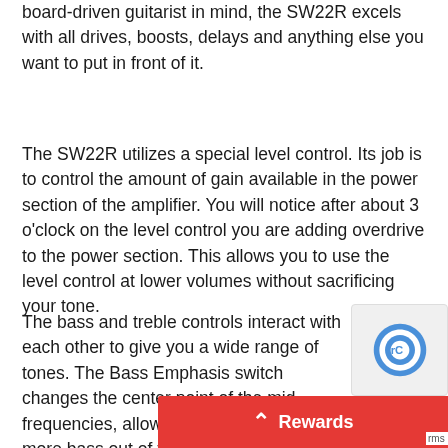board-driven guitarist in mind, the SW22R excels with all drives, boosts, delays and anything else you want to put in front of it.
The SW22R utilizes a special level control. Its job is to control the amount of gain available in the power section of the amplifier. You will notice after about 3 o'clock on the level control you are adding overdrive to the power section. This allows you to use the level control at lower volumes without sacrificing your tone.
The bass and treble controls interact with each other to give you a wide range of tones. The Bass Emphasis switch changes the center point of the mid frequencies, allowing you to get even more bass out of the amp. The bright switch is designed to bring in enough top end for even the darkest guitar but without adding any ice pick. This amp was designed to be that familiar black face styl... mid 60s, but with added clarity and string...